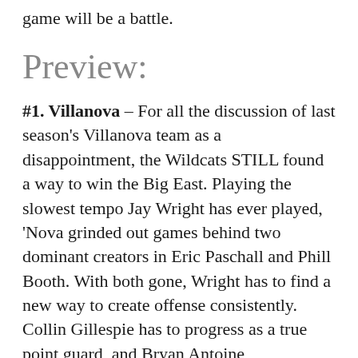game will be a battle.
Preview:
#1. Villanova – For all the discussion of last season's Villanova team as a disappointment, the Wildcats STILL found a way to win the Big East. Playing the slowest tempo Jay Wright has ever played, 'Nova grinded out games behind two dominant creators in Eric Paschall and Phill Booth. With both gone, Wright has to find a new way to create offense consistently. Collin Gillespie has to progress as a true point guard, and Bryan Antoine